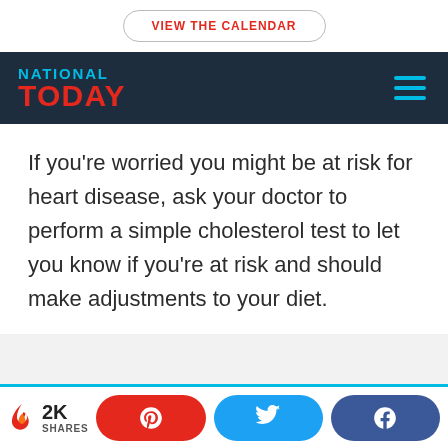VIEW THE CALENDAR
[Figure (logo): National Today logo with hamburger menu on dark navy background]
If you're worried you might be at risk for heart disease, ask your doctor to perform a simple cholesterol test to let you know if you're at risk and should make adjustments to your diet.
2K SHARES | Pinterest share button | Twitter share button | Facebook share button